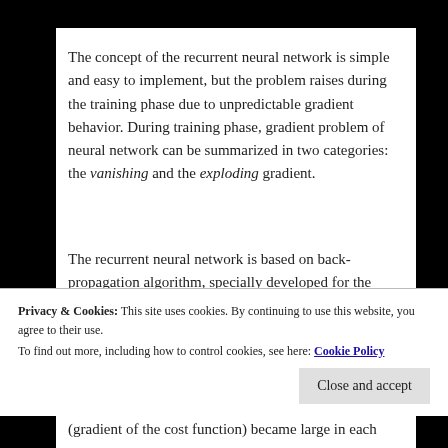The concept of the recurrent neural network is simple and easy to implement, but the problem raises during the training phase due to unpredictable gradient behavior. During training phase, gradient problem of neural network can be summarized in two categories: the vanishing and the exploding gradient.
The recurrent neural network is based on back-propagation algorithm, specially developed for the recurrent ANN, which is called back-propagation through time, BPTT.  In vanishing gradient problem
Privacy & Cookies: This site uses cookies. By continuing to use this website, you agree to their use.
To find out more, including how to control cookies, see here: Cookie Policy
(gradient of the cost function) became large in each